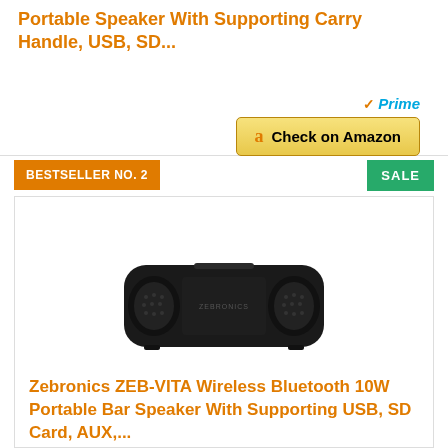Portable Speaker With Supporting Carry Handle, USB, SD...
[Figure (other): Amazon Prime badge and Check on Amazon button]
BESTSELLER NO. 2
SALE
[Figure (photo): Zebronics ZEB-VITA wireless Bluetooth portable bar speaker, black rectangular shape]
Zebronics ZEB-VITA Wireless Bluetooth 10W Portable Bar Speaker With Supporting USB, SD Card, AUX,...